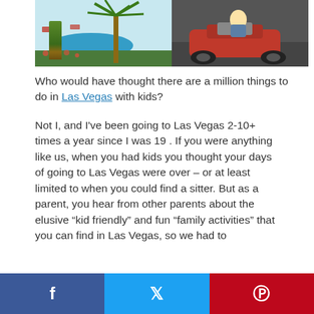[Figure (photo): Two photos side by side: left shows a resort pool area with palm trees and colorful landscaping; right shows a child riding a red go-kart indoors.]
Who would have thought there are a million things to do in Las Vegas with kids?
Not I, and I’ve been going to Las Vegas 2-10+ times a year since I was 19 . If you were anything like us, when you had kids you thought your days of going to Las Vegas were over – or at least limited to when you could find a sitter. But as a parent, you hear from other parents about the elusive “kid friendly” and fun “family activities” that you can find in Las Vegas, so we had to
Facebook  Twitter  Pinterest